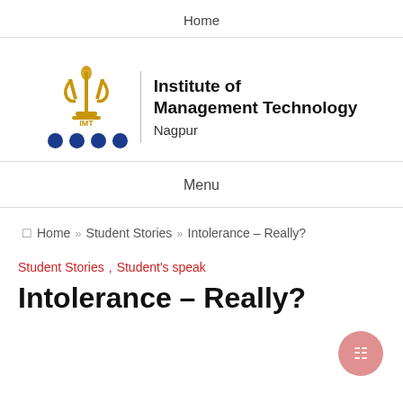Home
[Figure (logo): IMT Nagpur logo: gold trident/flame symbol with 'IMT' text below, vertical divider line, and text 'Institute of Management Technology Nagpur' to the right, with four blue dots below the symbol]
Menu
Home » Student Stories » Intolerance – Really?
Student Stories , Student's speak
Intolerance – Really?